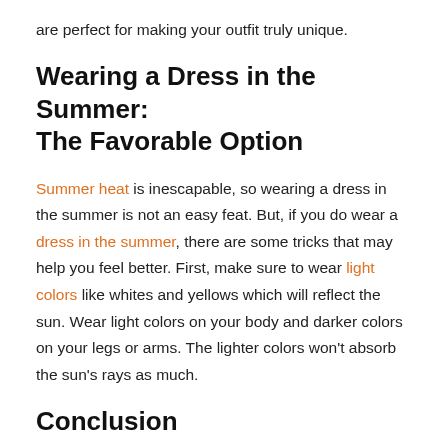are perfect for making your outfit truly unique.
Wearing a Dress in the Summer: The Favorable Option
Summer heat is inescapable, so wearing a dress in the summer is not an easy feat. But, if you do wear a dress in the summer, there are some tricks that may help you feel better. First, make sure to wear light colors like whites and yellows which will reflect the sun. Wear light colors on your body and darker colors on your legs or arms. The lighter colors won't absorb the sun's rays as much.
Conclusion